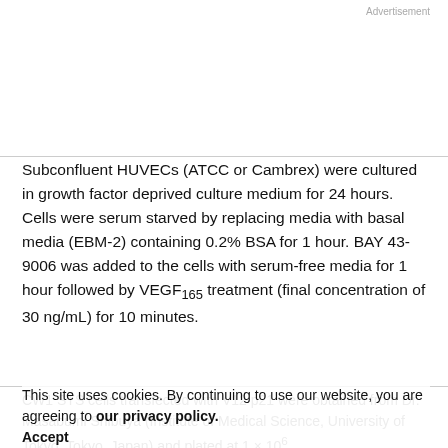Advertisement
Subconfluent HUVECs (ATCC or Cambrex) were cultured in growth factor deprived culture medium for 24 hours. Cells were serum starved by replacing media with basal media (EBM-2) containing 0.2% BSA for 1 hour. BAY 43-9006 was added to the cells with serum-free media for 1 hour followed by VEGF165 treatment (final concentration of 30 ng/mL) for 10 minutes.
This site uses cookies. By continuing to use our website, you are agreeing to our privacy policy. Accept
CW1 STS cells transfected with V12 p21 were obtained from Dr. Masabumi Shibuya (Institute of Medical Science, University of Tokyo, Tokyo, Japan) and plated at 1 × 10⁶